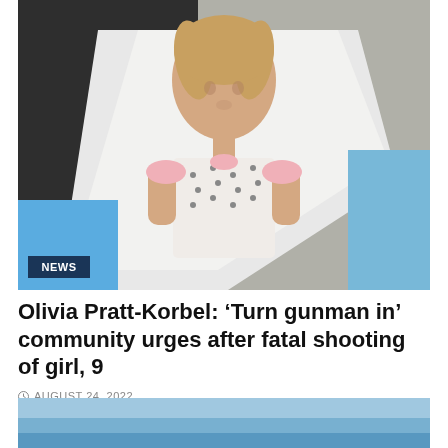[Figure (photo): A young girl approximately 9 years old with braided blond hair wearing a white patterned top, standing outdoors. A blue waterslide or pool feature is visible in the background. A dark background structure is also visible. A 'NEWS' badge overlays the lower left of the image.]
Olivia Pratt-Korbel: ‘Turn gunman in’ community urges after fatal shooting of girl, 9
AUGUST 24, 2022
[Figure (photo): Partial view of another image at the bottom of the page, showing a light blue sky or outdoor scene, cropped.]